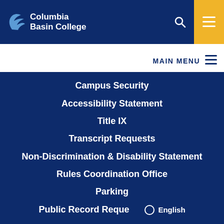[Figure (logo): Columbia Basin College logo with bird icon and text]
MAIN MENU
Campus Security
Accessibility Statement
Title IX
Transcript Requests
Non-Discrimination & Disability Statement
Rules Coordination Office
Parking
Public Record Reque
English